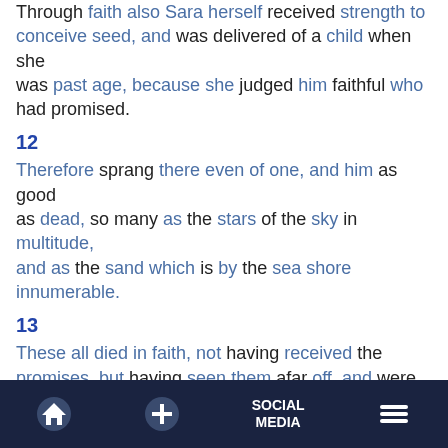Through faith also Sara herself received strength to conceive seed, and was delivered of a child when she was past age, because she judged him faithful who had promised.
12
Therefore sprang there even of one, and him as good as dead, so many as the stars of the sky in multitude, and as the sand which is by the sea shore innumerable.
13
These all died in faith, not having received the promises, but having seen them afar off, and were persuaded of them, and embraced them, and confessed that they were strangers and pilgrims on the earth.
14
For they that say such things declare plainly that they
Home | + | SOCIAL MEDIA | Menu